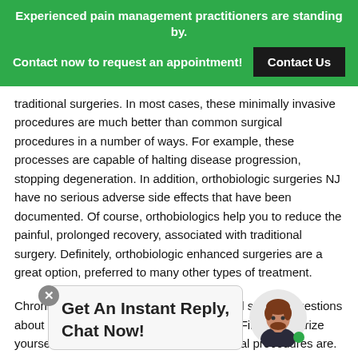Experienced pain management practitioners are standing by. Contact now to request an appointment! Contact Us
traditional surgeries. In most cases, these minimally invasive procedures are much better than common surgical procedures in a number of ways. For example, these processes are capable of halting disease progression, stopping degeneration. In addition, orthobiologic surgeries NJ have no serious adverse side effects that have been documented. Of course, orthobiologics help you to reduce the painful, prolonged recovery, associated with traditional surgery. Definitely, orthobiologic enhanced surgeries are a great option, preferred to many other types of treatment.
Chronic pain patients typically have several specific questions about orthobiological enhanced surgeries. First, familiarize yourself with what these specialized medical procedures are. Next, consider if you are a candidate for enhanced surgeries. Then, consider if you are eligible for these procedures. At the local rehabilitation center about finally procedures. Furthermore, orthobiologic procedures is significantly